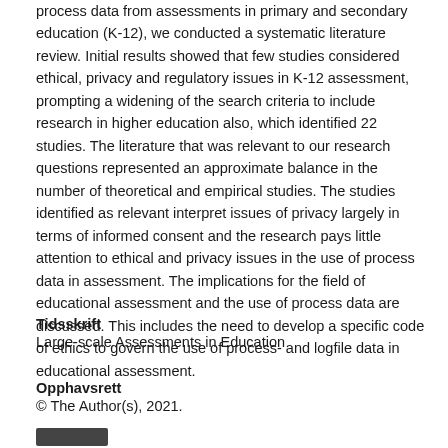process data from assessments in primary and secondary education (K-12), we conducted a systematic literature review. Initial results showed that few studies considered ethical, privacy and regulatory issues in K-12 assessment, prompting a widening of the search criteria to include research in higher education also, which identified 22 studies. The literature that was relevant to our research questions represented an approximate balance in the number of theoretical and empirical studies. The studies identified as relevant interpret issues of privacy largely in terms of informed consent and the research pays little attention to ethical and privacy issues in the use of process data in assessment. The implications for the field of educational assessment and the use of process data are discussed. This includes the need to develop a specific code of ethics to govern the use of process- and logfile data in educational assessment.
Tidsskrift
Large-scale Assessments in Education
Opphavsrett
© The Author(s), 2021.